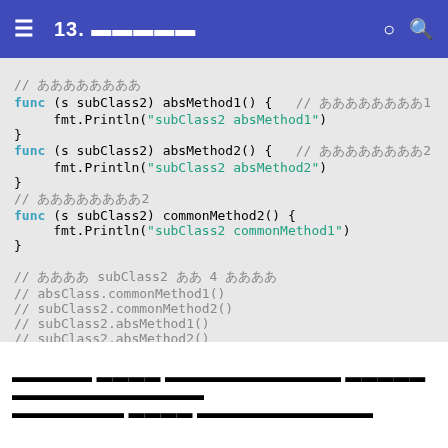13. [title text]
// [comment]
func (s subClass2) absMethod1() {   // [comment]1
    fmt.Println("subClass2 absMethod1")
}
func (s subClass2) absMethod2() {   // [comment]2
    fmt.Println("subClass2 absMethod2")
}
// [comment]2
func (s subClass2) commonMethod2() {
    fmt.Println("subClass2 commonMethod1")
}

// [comment] subClass2 [comment] 4 [comment]
// absClass.commonMethod1()
// subClass2.commonMethod2()
// subClass2.absMethod1()
// subClass2.absMethod2()
[Korean body text paragraph]